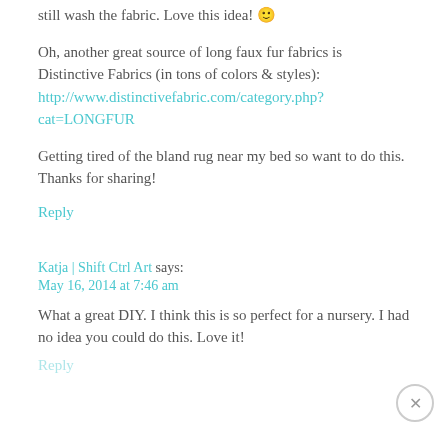still wash the fabric. Love this idea! 🙂
Oh, another great source of long faux fur fabrics is Distinctive Fabrics (in tons of colors & styles): http://www.distinctivefabric.com/category.php?cat=LONGFUR
Getting tired of the bland rug near my bed so want to do this. Thanks for sharing!
Reply
Katja | Shift Ctrl Art says:
May 16, 2014 at 7:46 am
What a great DIY. I think this is so perfect for a nursery. I had no idea you could do this. Love it!
Reply